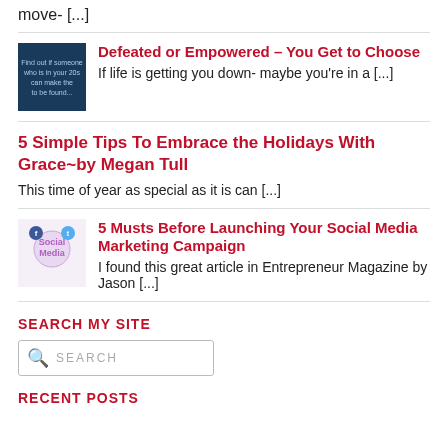move- [...]
Defeated or Empowered – You Get to Choose
If life is getting you down- maybe you're in a [...]
5 Simple Tips To Embrace the Holidays With Grace~by Megan Tull
This time of year as special as it is can [...]
5 Musts Before Launching Your Social Media Marketing Campaign
I found this great article in Entrepreneur Magazine by Jason [...]
SEARCH MY SITE
RECENT POSTS